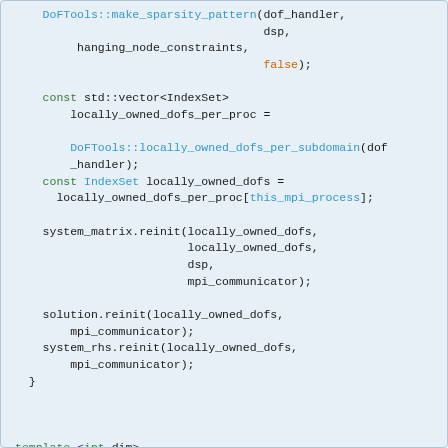[Figure (screenshot): C++ source code snippet showing DoFTools::make_sparsity_pattern call, vector and IndexSet declarations, system_matrix.reinit, solution.reinit, system_rhs.reinit calls, closing brace, then template and void ElasticProblem assemble_system function with QGauss and FEValues declarations.]